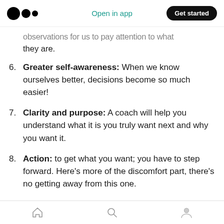Medium app header with logo, Open in app, Get started
observations for us to pay attention to what they are.
6. Greater self-awareness: When we know ourselves better, decisions become so much easier!
7. Clarity and purpose: A coach will help you understand what it is you truly want next and why you want it.
8. Action: to get what you want; you have to step forward. Here's more of the discomfort part, there's no getting away from this one.
Bottom navigation bar with home, search, and profile icons